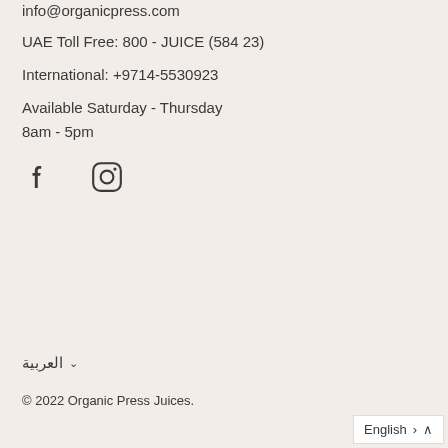info@organicpress.com
UAE Toll Free: 800 - JUICE (584 23)
International: +9714-5530923
Available Saturday - Thursday
8am - 5pm
[Figure (illustration): Facebook and Instagram social media icons]
العربية ∨
© 2022 Organic Press Juices.
English >